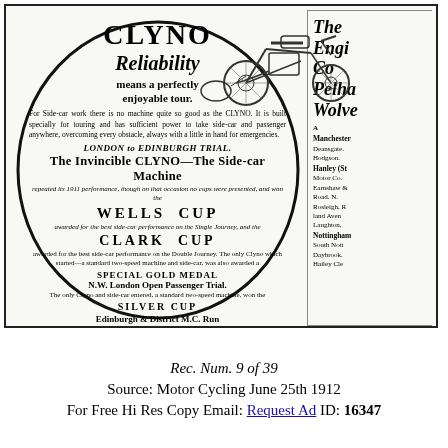[Figure (illustration): Vintage advertisement for CLYNO motorcycles. Left panel shows circular advertisement with text about reliability and trial wins. Top right shows a line-drawn illustration of a motorcycle with sidecar. Right panel shows a partial advertisement for another company (The Eng... Co... Pelha... Wolve...) with dealer listings including Manchester, Hanley, Nottingham.]
CLYNO Reliability means a perfectly enjoyable tour.
For Side-car work there is no machine quite so good as the CLYNO. It is built specially for touring and has sufficient power to take side-car and passenger anywhere, overcoming every obstacle, always with a little in hand for emergencies.
LONDON to EDINBURGH TRIAL.
The Invincible CLYNO—The Side-car Machine
repeated its 1911 performance, though on that occasion no cups were presented, and won the
WELLS CUP
awarded for the best side-car performance on the Single Journey, and the
CLARK CUP
awarded for the best side-car performance on the Double Journey. The only Clyno which started—a standard two-speed machine and side-car, was also awarded a
SPECIAL GOLD MEDAL
N.W. London Open Passenger Trial. The only Clyno and side-car entered, a standard two-speed machine, won the
SILVER CUP
Edinburgh & District M.C. Run Clyno and side-car gain Full Marks.
Rec. Num. 9 of 39
Source: Motor Cycling June 25th 1912
For Free Hi Res Copy Email: Request Ad ID: 16347